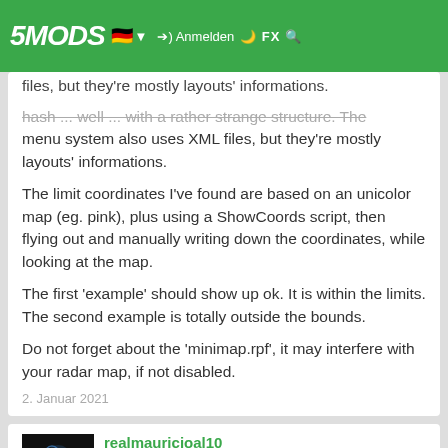5MODS | Anmelden | GFX
pause menu map coordinate limits are defined. The menu system uses Scaleform which is hash ... well ... with a rather strange structure. The menu system also uses XML files, but they're mostly layouts' informations.

The limit coordinates I've found are based on an unicolor map (eg. pink), plus using a ShowCoords script, then flying out and manually writing down the coordinates, while looking at the map.

The first 'example' should show up ok. It is within the limits. The second example is totally outside the bounds.

Do not forget about the 'minimap.rpf', it may interfere with your radar map, if not disabled.
2. Januar 2021
realmauricioal10
and how to fix the problem when pausing the game stops working? (tested in clean installation)
22. Februar 2021